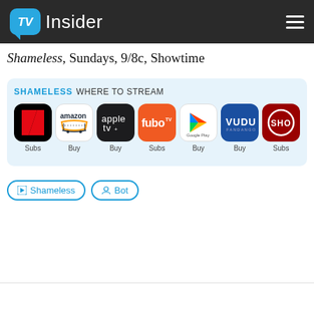TV Insider
Shameless, Sundays, 9/8c, Showtime
[Figure (infographic): Shameless WHERE TO STREAM panel showing 7 streaming service icons: Netflix (Subs), Amazon (Buy), Apple TV (Buy), fubo (Subs), Google Play (Buy), Vudu (Buy), SHO (Subs)]
Shameless
Bot